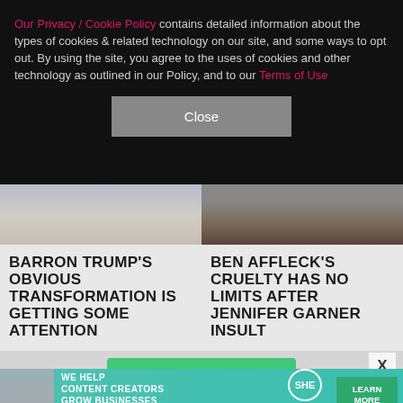Our Privacy / Cookie Policy contains detailed information about the types of cookies & related technology on our site, and some ways to opt out. By using the site, you agree to the uses of cookies and other technology as outlined in our Policy, and to our Terms of Use
[Figure (screenshot): Close button for cookie/privacy overlay]
[Figure (photo): Two article thumbnail photos side by side: left shows partial face (Barron Trump), right shows bearded man close-up (Ben Affleck)]
BARRON TRUMP'S OBVIOUS TRANSFORMATION IS GETTING SOME ATTENTION
BEN AFFLECK'S CRUELTY HAS NO LIMITS AFTER JENNIFER GARNER INSULT
[Figure (infographic): SHE Partner Network advertisement banner at bottom: 'We help content creators grow businesses through...' with LEARN MORE button]